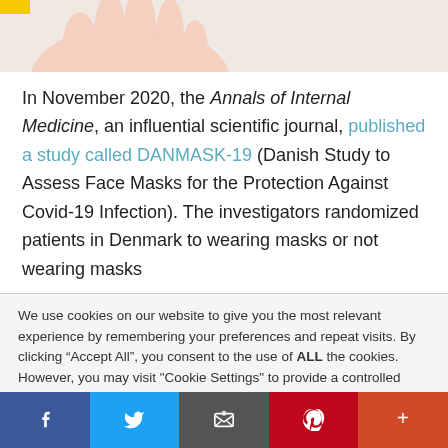[Figure (photo): Partial view of a hand against a light background, top portion of page. Yellow bar visible at top left.]
In November 2020, the Annals of Internal Medicine, an influential scientific journal, published a study called DANMASK-19 (Danish Study to Assess Face Masks for the Protection Against Covid-19 Infection). The investigators randomized patients in Denmark to wearing masks or not wearing masks
We use cookies on our website to give you the most relevant experience by remembering your preferences and repeat visits. By clicking “Accept All”, you consent to the use of ALL the cookies. However, you may visit "Cookie Settings" to provide a controlled consent.
[Figure (screenshot): Social media sharing bar at the bottom with Facebook, Twitter, Email, Pinterest, and More buttons.]